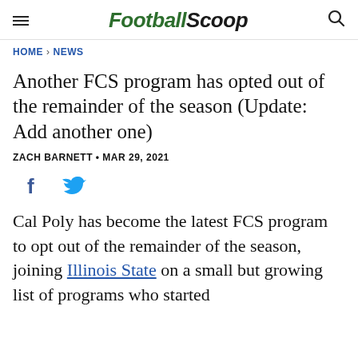FootballScoop
HOME > NEWS
Another FCS program has opted out of the remainder of the season (Update: Add another one)
ZACH BARNETT • MAR 29, 2021
[Figure (other): Social media share icons: Facebook and Twitter]
Cal Poly has become the latest FCS program to opt out of the remainder of the season, joining Illinois State on a small but growing list of programs who started